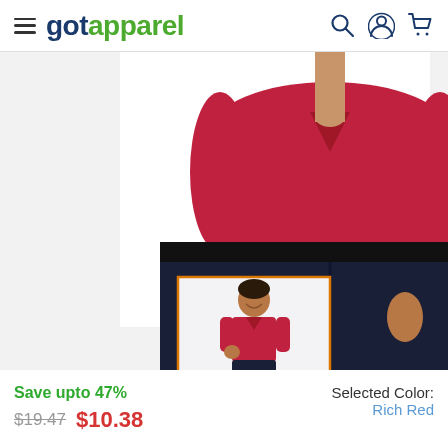gotapparel — navigation header with hamburger menu, logo, search, account, and cart icons
[Figure (photo): Close-up product photo of a boy wearing a rich red polo shirt with dark jeans. Below the main image is a thumbnail of the full-body product shot with an orange border indicating selection.]
Save upto 47%
$19.47  $10.38
Selected Color: Rich Red